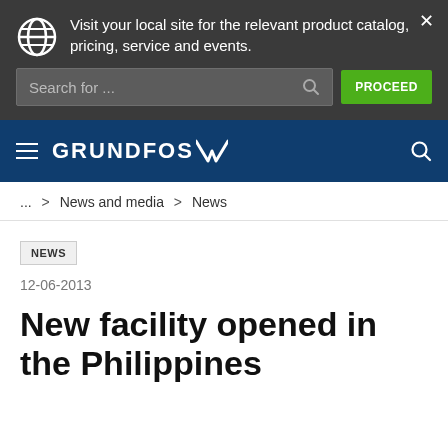Visit your local site for the relevant product catalog, pricing, service and events.
Search for ...
PROCEED
[Figure (logo): Grundfos logo with stylized X mark on navy background]
... > News and media > News
NEWS
12-06-2013
New facility opened in the Philippines